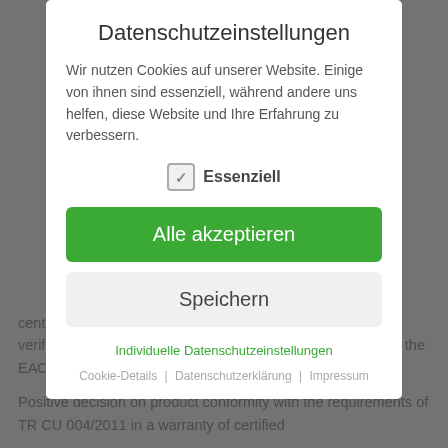Datenschutzeinstellungen
Wir nutzen Cookies auf unserer Website. Einige von ihnen sind essenziell, während andere uns helfen, diese Website und Ihre Erfahrung zu verbessern.
✓ Essenziell
Alle akzeptieren
Speichern
Individuelle Datenschutzeinstellungen
Cookie-Details | Datenschutzerklärung | Impressum
centers. If required, they will perform the necessary tests to verify the conformity of your products to the requirements of the EAC TR CU.
Positive decision on product conformity with the requirements of TR CU 004/2011 in a warranty of certified